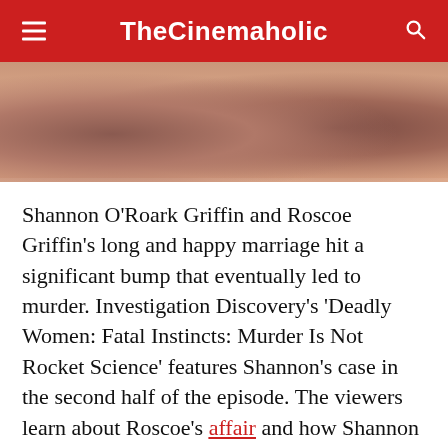TheCinemaholic
[Figure (photo): Cropped photo showing two people wearing red clothing, faces partially visible]
Shannon O'Roark Griffin and Roscoe Griffin's long and happy marriage hit a significant bump that eventually led to murder. Investigation Discovery's 'Deadly Women: Fatal Instincts: Murder Is Not Rocket Science' features Shannon's case in the second half of the episode. The viewers learn about Roscoe's affair and how Shannon reacted to it, ultimately landing her in prison. So, if you're curious to find out what happened, we've got